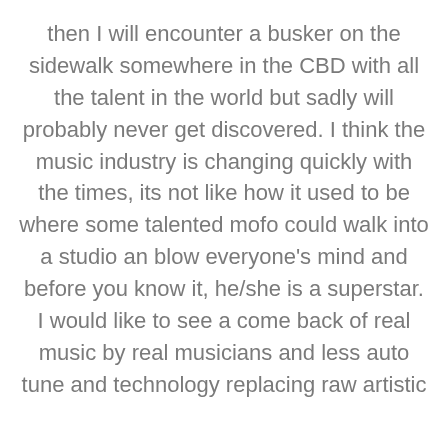then I will encounter a busker on the sidewalk somewhere in the CBD with all the talent in the world but sadly will probably never get discovered. I think the music industry is changing quickly with the times, its not like how it used to be where some talented mofo could walk into a studio an blow everyone's mind and before you know it, he/she is a superstar. I would like to see a come back of real music by real musicians and less auto tune and technology replacing raw artistic